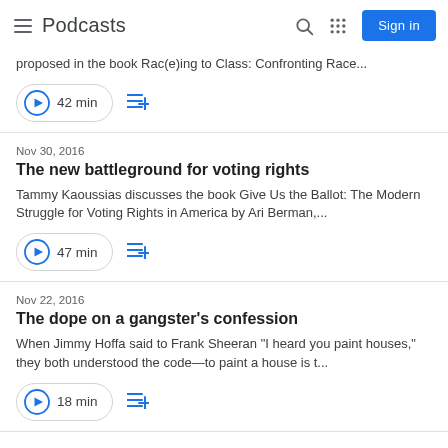Podcasts | Sign in
proposed in the book Rac(e)ing to Class: Confronting Race...
42 min
Nov 30, 2016
The new battleground for voting rights
Tammy Kaoussias discusses the book Give Us the Ballot: The Modern Struggle for Voting Rights in America by Ari Berman,...
47 min
Nov 22, 2016
The dope on a gangster's confession
When Jimmy Hoffa said to Frank Sheeran "I heard you paint houses," they both understood the code—to paint a house is t...
18 min